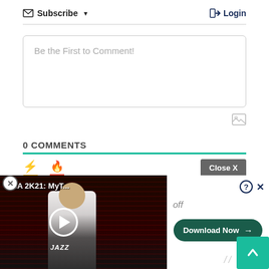Subscribe ▾   Login
Be the First to Comment!
0 COMMENTS
[Figure (screenshot): Sort icons: lightning bolt and fire, with Close X button]
[Figure (photo): NBA 2K21: MyT... video thumbnail with play button and Jazz player in background]
[Figure (screenshot): Download Now button with question mark and X icons, and teal scroll-to-top button]